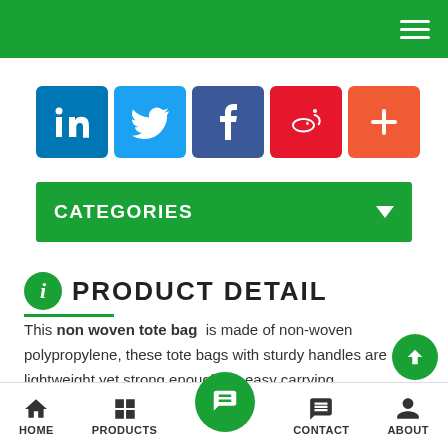Navigation bar with hamburger menu
[Figure (infographic): Social media icon buttons: LinkedIn, Twitter, Facebook, Weibo, and a plus/share button]
CATEGORIES
PRODUCT DETAIL
This non woven tote bag is made of non-woven polypropylene, these tote bags with sturdy handles are lightweight yet strong enough for easy carrying.
HOME | PRODUCTS | [center button] | CONTACT | ABOUT